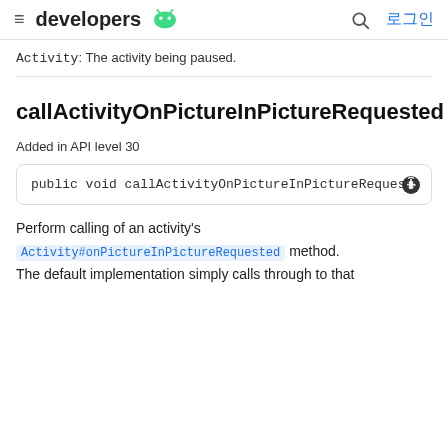≡ developers 🤖  🔍 로그인
Activity: The activity being paused.
callActivityOnPictureInPictureRequested
Added in API level 30
public void callActivityOnPictureInPictureRequested
Perform calling of an activity's Activity#onPictureInPictureRequested method. The default implementation simply calls through to that